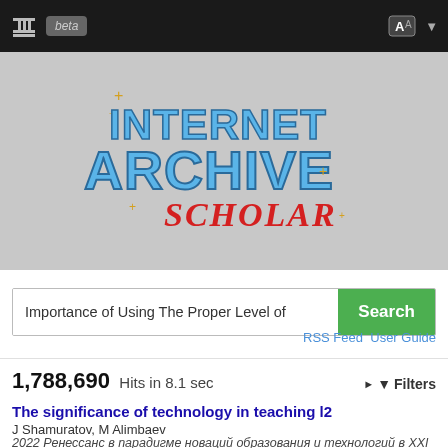[Figure (screenshot): Internet Archive Scholar logo with blue 3D metallic text 'INTERNET ARCHIVE' and red script 'SCHOLAR' on grey background]
Importance of Using The Proper Level of
Search
RSS Feed   User Guide
1,788,690 Hits in 8.1 sec
▶ ▼ Filters
The significance of technology in teaching l2
J Shamuratov, M Alimbaev
2022 Ренессанс в парадигме новаций образования и технологий в XXI веке
The importance of technology in teaching English classroom. Technologies that support learners to develop their not only their IT